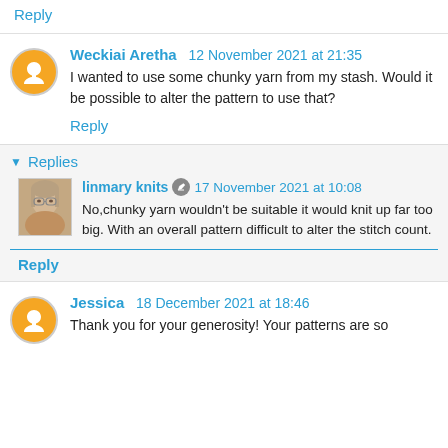Reply
Weckiai Aretha 12 November 2021 at 21:35
I wanted to use some chunky yarn from my stash. Would it be possible to alter the pattern to use that?
Reply
Replies
linmary knits 17 November 2021 at 10:08
No,chunky yarn wouldn't be suitable it would knit up far too big. With an overall pattern difficult to alter the stitch count.
Reply
Jessica 18 December 2021 at 18:46
Thank you for your generosity! Your patterns are so